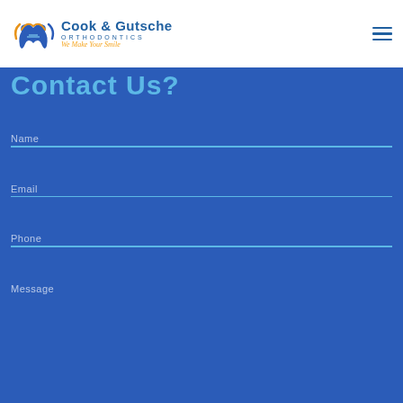[Figure (logo): Cook & Gutsche Orthodontics logo with tooth graphic and tagline 'We Make Your Smile']
Contact Us?
Name
Email
Phone
Message